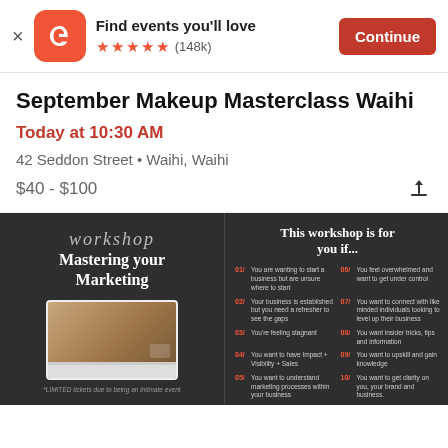[Figure (screenshot): Eventbrite app banner with logo, 'Find events you'll love', 5 stars (148k), and Continue button]
September Makeup Masterclass Waihi
Today at 10:30 AM
42 Seddon Street • Waihi, Waihi
$40 - $100
[Figure (illustration): Dark background workshop promotional image split into two panels. Left panel: script 'workshop' text, 'Mastering your Marketing' title, laptop photo, '*LIMITED tickets due to being an intimate event'. Right panel: 'This workshop is for you if...' with 10 numbered items about business marketing reasons.]